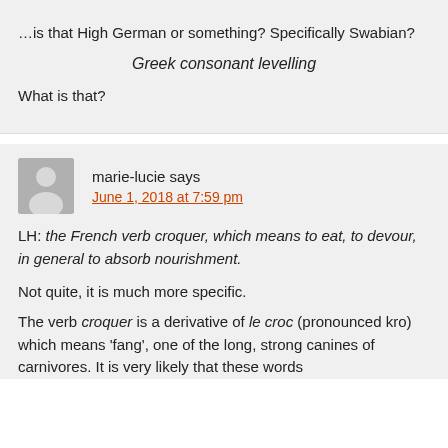…is that High German or something? Specifically Swabian?
Greek consonant levelling
What is that?
marie-lucie says
June 1, 2018 at 7:59 pm
LH: the French verb croquer, which means to eat, to devour, in general to absorb nourishment.
Not quite, it is much more specific.
The verb croquer is a derivative of le croc (pronounced kro) which means 'fang', one of the long, strong canines of carnivores. It is very likely that these words